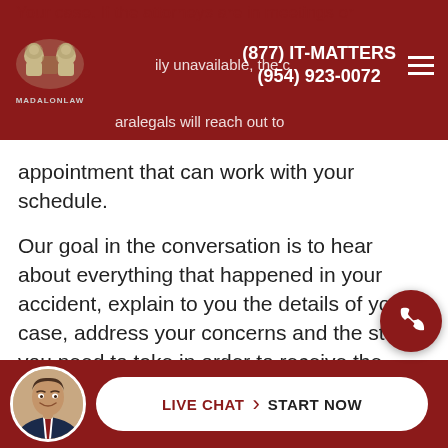MADALON LAW | (877) IT-MATTERS | (954) 923-0072
appointment that can work with your schedule.
Our goal in the conversation is to hear about everything that happened in your accident, explain to you the details of your case, address your concerns and the steps you need to take in order to receive the compensation you and your family deserve.
WE WILL COME TO YOU
We are based out of Ft. Lauderdale and serve accident victims throughout the state of Flo... If
LIVE CHAT | START NOW